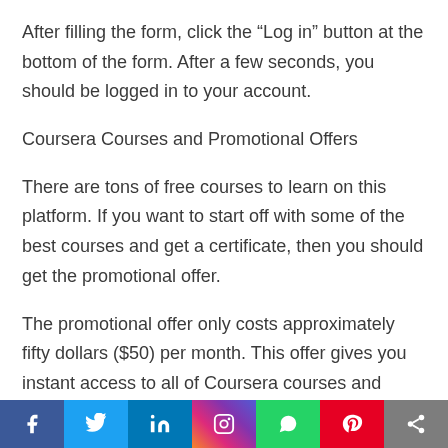After filling the form, click the “Log in” button at the bottom of the form. After a few seconds, you should be logged in to your account.
Coursera Courses and Promotional Offers
There are tons of free courses to learn on this platform. If you want to start off with some of the best courses and get a certificate, then you should get the promotional offer.
The promotional offer only costs approximately fifty dollars ($50) per month. This offer gives you instant access to all of Coursera courses and enrolls you in the